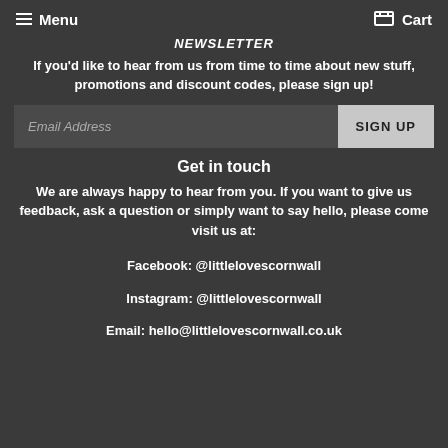Menu  Cart
Newsletter
If you'd like to hear from us from time to time about new stuff, promotions and discount codes, please sign up!
Email Address  SIGN UP
Get in touch
We are always happy to hear from you. If you want to give us feedback, ask a question or simply want to say hello, please come visit us at:
Facebook: @littlelovescornwall

Instagram: @littlelovescornwall

Email: hello@littlelovescornwall.co.uk